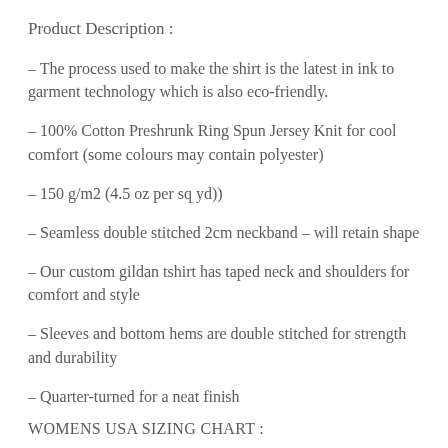Product Description :
– The process used to make the shirt is the latest in ink to garment technology which is also eco-friendly.
– 100% Cotton Preshrunk Ring Spun Jersey Knit for cool comfort (some colours may contain polyester)
– 150 g/m2 (4.5 oz per sq yd))
– Seamless double stitched 2cm neckband – will retain shape
– Our custom gildan tshirt has taped neck and shoulders for comfort and style
– Sleeves and bottom hems are double stitched for strength and durability
– Quarter-turned for a neat finish
WOMENS USA SIZING CHART :
– Small = 25.5" body length x 17¼" chest
– Medium = 26.5" body length x 19 ¼" chest